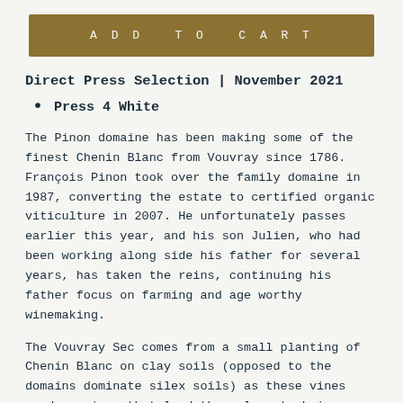ADD TO CART
Direct Press Selection | November 2021
Press 4 White
The Pinon domaine has been making some of the finest Chenin Blanc from Vouvray since 1786. François Pinon took over the family domaine in 1987, converting the estate to certified organic viticulture in 2007. He unfortunately passes earlier this year, and his son Julien, who had been working along side his father for several years, has taken the reins, continuing his father focus on farming and age worthy winemaking.
The Vouvray Sec comes from a small planting of Chenin Blanc on clay soils (opposed to the domains dominate silex soils) as these vines produce wines that lend themselves to being fermented totally. The grapes come from vines that are over 40 years old, which are hand harvested, gently whole cluster pressed and gravity fed into stainless steel tanks where the juice goes through a 3